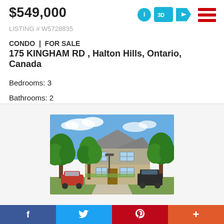$549,000
LISTING # W5728835
CONDO | FOR SALE
175 KINGHAM RD , Halton Hills, Ontario, Canada
Bedrooms: 3
Bathrooms: 2
[Figure (photo): Exterior photo of a townhouse/condo at 175 Kingham Rd, Halton Hills. Shows a two-storey home with grey siding and brick, surrounded by large green trees. A red car is parked on the left and a black SUV on the right. Driveway visible in the center.]
$579,900
f  Twitter  P  +